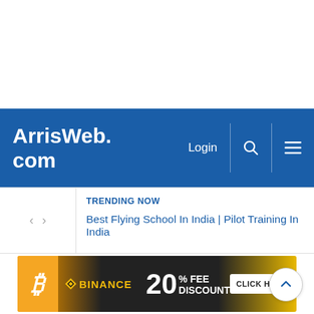ArrisWeb.com
Login
TRENDING NOW
Best Flying School In India | Pilot Training In India
[Figure (infographic): Binance advertisement banner showing Bitcoin symbol on orange background, Binance logo in gold, '20% FEE DISCOUNT' text in white on dark background, and 'CLICK HERE' button in white on gold background]
CLICK HERE